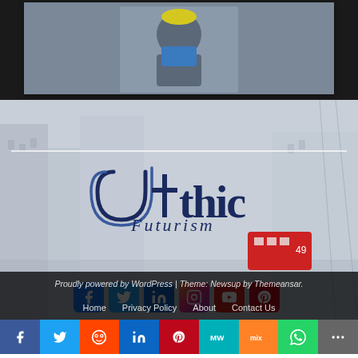[Figure (photo): Top portion of a website article card with an image visible against dark background]
[Figure (photo): Website footer section with blurred city street background showing 'Gothic Futurism' logo and social media icons]
Proudly powered by WordPress | Theme: Newsup by Themeansar.
Home
Privacy Policy
About
Contact Us